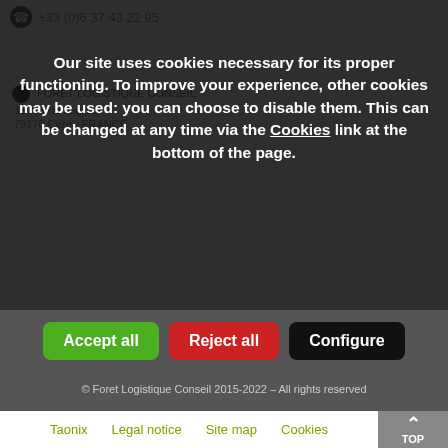+33 (0)6 37 43 22 95
FORET LOGISTIQUE CONSEIL
15 rue de l'Eglise
79170 Ciize - FRANCE
Our site uses cookies necessary for its proper functioning. To improve your experience, other cookies may be used: you can choose to disable them. This can be changed at any time via the Cookies link at the bottom of the page.
Accept all
Reject all
Configure
© Foret Logistique Conseil 2015-2022 - All rights reserved
Taonix
Legal notice
Site map
Cookies
TOP